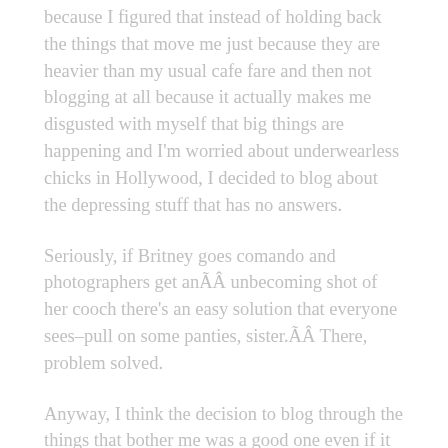because I figured that instead of holding back the things that move me just because they are heavier than my usual cafe fare and then not blogging at all because it actually makes me disgusted with myself that big things are happening and I'm worried about underwearless chicks in Hollywood, I decided to blog about the depressing stuff that has no answers.
Seriously, if Britney goes comando and photographers get anÃÂ unbecoming shot of her cooch there's an easy solution that everyone sees–pull on some panties, sister.ÃÂ There, problem solved.
Anyway, I think the decision to blog through the things that bother me was a good one even if it drew fewer comments–that also might be because I wasn't there to